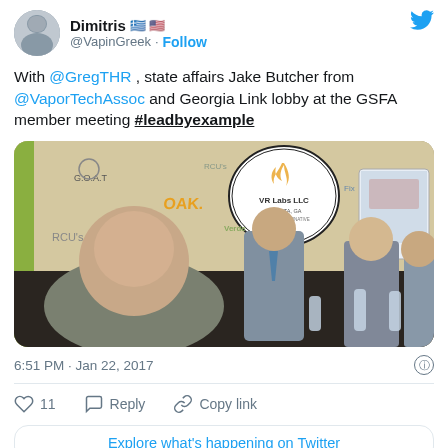Dimitris 🇬🇷🇺🇸 @VapinGreek · Follow
With @GregTHR , state affairs Jake Butcher from @VaporTechAssoc and Georgia Link lobby at the GSFA member meeting #leadbyexample
[Figure (photo): Group selfie photo of four people at a GSFA member meeting, standing/sitting in front of a banner wall with various logos including VR Labs LLC Atlanta GA. One person holds a phone taking the selfie in the foreground.]
6:51 PM · Jan 22, 2017
11  Reply  Copy link
Explore what's happening on Twitter